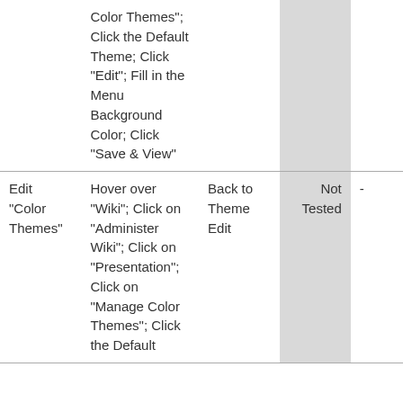|  | Color Themes"; Click the Default Theme; Click "Edit"; Fill in the Menu Background Color; Click "Save & View" |  | Not Tested | - |
| Edit "Color Themes" | Hover over "Wiki"; Click on "Administer Wiki"; Click on "Presentation"; Click on "Manage Color Themes"; Click the Default... | Back to Theme Edit | Not Tested | - |